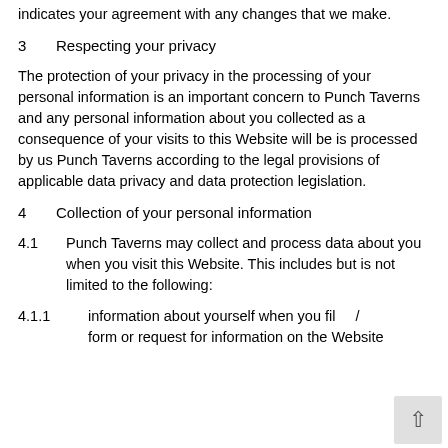indicates your agreement with any changes that we make.
3	Respecting your privacy
The protection of your privacy in the processing of your personal information is an important concern to Punch Taverns and any personal information about you collected as a consequence of your visits to this Website will be is processed by us Punch Taverns according to the legal provisions of applicable data privacy and data protection legislation.
4	Collection of your personal information
4.1	Punch Taverns may collect and process data about you when you visit this Website. This includes but is not limited to the following:
4.1.1	information about yourself when you fil / form or request for information on the Website